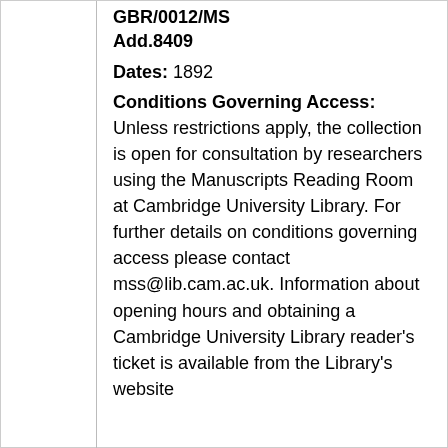GBR/0012/MS Add.8409
Dates: 1892
Conditions Governing Access: Unless restrictions apply, the collection is open for consultation by researchers using the Manuscripts Reading Room at Cambridge University Library. For further details on conditions governing access please contact mss@lib.cam.ac.uk. Information about opening hours and obtaining a Cambridge University Library reader's ticket is available from the Library's website